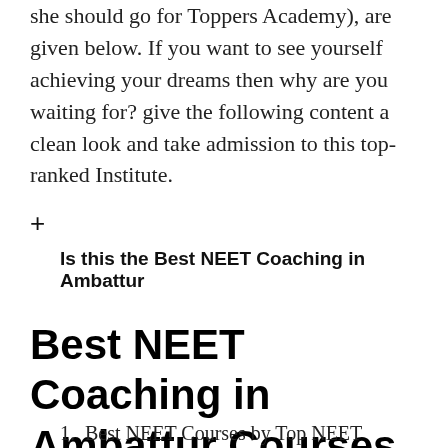she should go for Toppers Academy), are given below. If you want to see yourself achieving your dreams then why are you waiting for? give the following content a clean look and take admission to this top-ranked Institute.
+
Is this the Best NEET Coaching in Ambattur
Best NEET Coaching in Ambattur Courses offered
1. Best NEET Courses by Top NEET